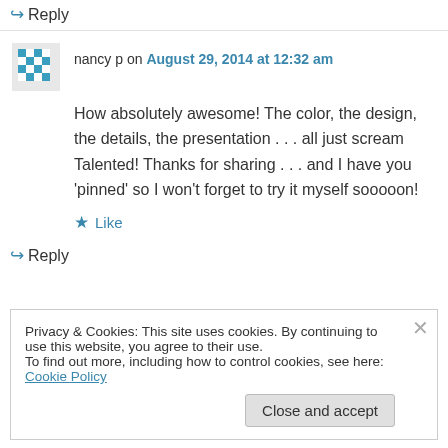↳ Reply
nancy p on August 29, 2014 at 12:32 am
How absolutely awesome! The color, the design, the details, the presentation . . . all just scream Talented! Thanks for sharing . . . and I have you 'pinned' so I won't forget to try it myself sooooon!
★ Like
↳ Reply
Privacy & Cookies: This site uses cookies. By continuing to use this website, you agree to their use.
To find out more, including how to control cookies, see here: Cookie Policy
Close and accept